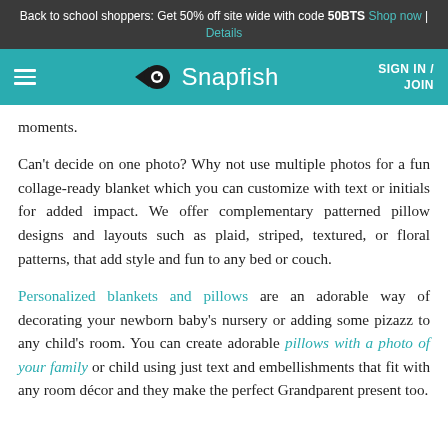Back to school shoppers: Get 50% off site wide with code 50BTS Shop now | Details
Snapfish — SIGN IN / JOIN
moments.
Can't decide on one photo? Why not use multiple photos for a fun collage-ready blanket which you can customize with text or initials for added impact. We offer complementary patterned pillow designs and layouts such as plaid, striped, textured, or floral patterns, that add style and fun to any bed or couch.
Personalized blankets and pillows are an adorable way of decorating your newborn baby's nursery or adding some pizazz to any child's room. You can create adorable pillows with a photo of your family or child using just text and embellishments that fit with any room décor and they make the perfect Grandparent present too.